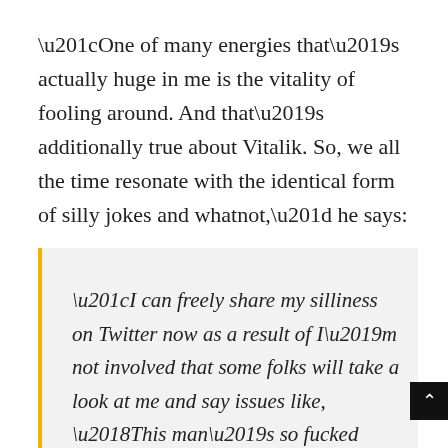“One of many energies that’s actually huge in me is the vitality of fooling around. And that’s additionally true about Vitalik. So, we all the time resonate with the identical form of silly jokes and whatnot,” he says:
“I can freely share my silliness on Twitter now as a result of I’m not involved that some folks will take a look at me and say issues like, ‘This man’s so fucked up.’ I’m like yeah in